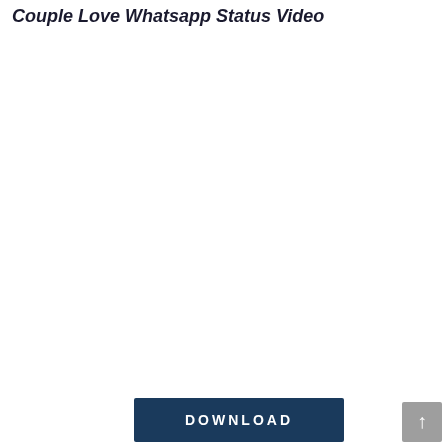Couple Love Whatsapp Status Video
[Figure (other): Large blank white content area, likely a video embed placeholder]
[Figure (other): Dark blue DOWNLOAD button at the bottom center of the page]
[Figure (other): Grey scroll-to-top arrow button in the bottom right corner]